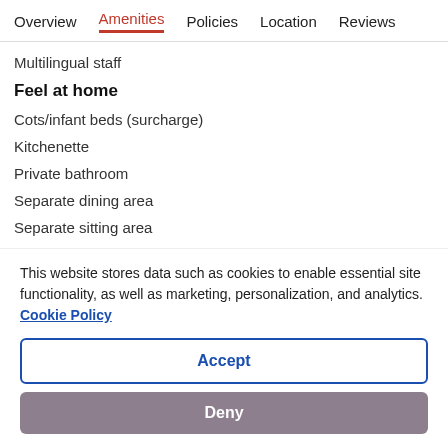Overview  Amenities  Policies  Location  Reviews
Multilingual staff
Feel at home
Cots/infant beds (surcharge)
Kitchenette
Private bathroom
Separate dining area
Separate sitting area
Patio
This website stores data such as cookies to enable essential site functionality, as well as marketing, personalization, and analytics. Cookie Policy
Accept
Deny